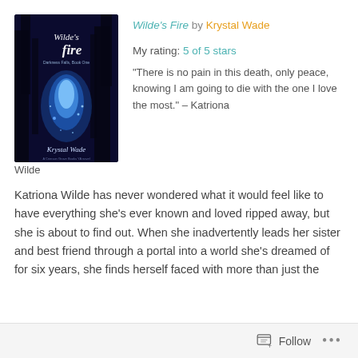Wilde's Fire by Krystal Wade
My rating: 5 of 5 stars
“There is no pain in this death, only peace, knowing I am going to die with the one I love the most.” – Katriona Wilde
Katriona Wilde has never wondered what it would feel like to have everything she’s ever known and loved ripped away, but she is about to find out. When she inadvertently leads her sister and best friend through a portal into a world she’s dreamed of for six years, she finds herself faced with more than just the
Follow •••